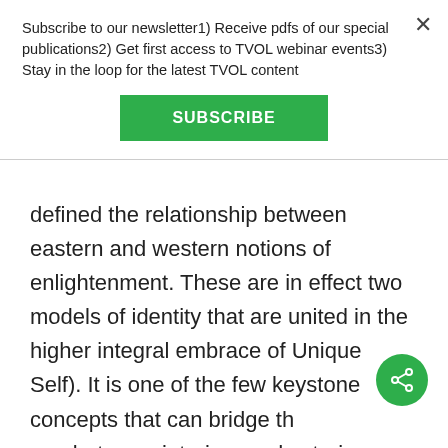Subscribe to our newsletter1) Receive pdfs of our special publications2) Get first access to TVOL webinar events3) Stay in the loop for the latest TVOL content
SUBSCRIBE
defined the relationship between eastern and western notions of enlightenment. These are in effect two models of identity that are united in the higher integral embrace of Unique Self). It is one of the few keystone concepts that can bridge the gap between interiors and exteriors, science and ethics, matter and sprit